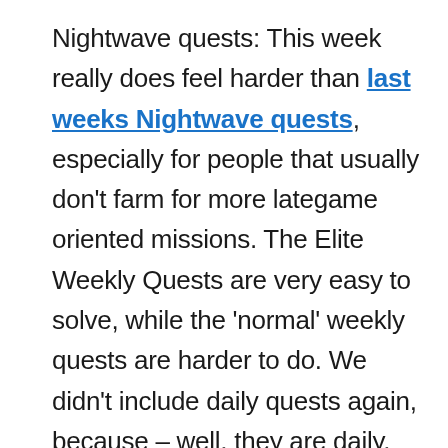Nightwave quests: This week really does feel harder than last weeks Nightwave quests, especially for people that usually don't farm for more lategame oriented missions. The Elite Weekly Quests are very easy to solve, while the 'normal' weekly quests are harder to do. We didn't include daily quests again, because – well, they are daily. You should also be able to solve them without any trouble. If you still have some more general questions